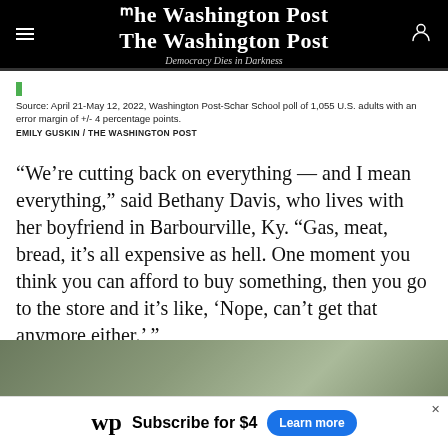The Washington Post — Democracy Dies in Darkness
Source: April 21-May 12, 2022, Washington Post-Schar School poll of 1,055 U.S. adults with an error margin of +/- 4 percentage points. EMILY GUSKIN / THE WASHINGTON POST
“We’re cutting back on everything — and I mean everything,” said Bethany Davis, who lives with her boyfriend in Barbourville, Ky. “Gas, meat, bread, it’s all expensive as hell. One moment you think you can afford to buy something, then you go to the store and it’s like, ‘Nope, can’t get that anymore either.’ ”
[Figure (photo): Partial view of a person in a vehicle, outdoor greenery visible in background]
[Figure (infographic): Washington Post subscription advertisement banner: WP logo, 'Subscribe for $4', 'Learn more' blue button]